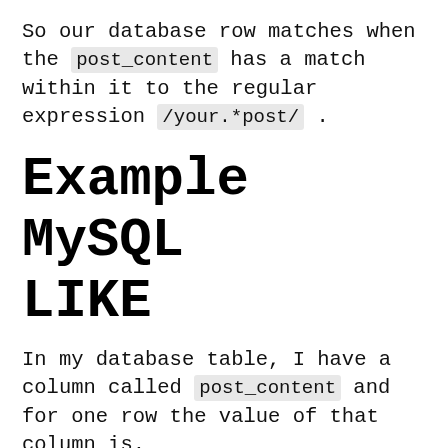So our database row matches when the post_content has a match within it to the regular expression /your.*post/ .
Example MySQL LIKE
In my database table, I have a column called post_content and for one row the value of that column is.
<!-- wp:paragraph -->
<p>Welcome to WordPress. This is y